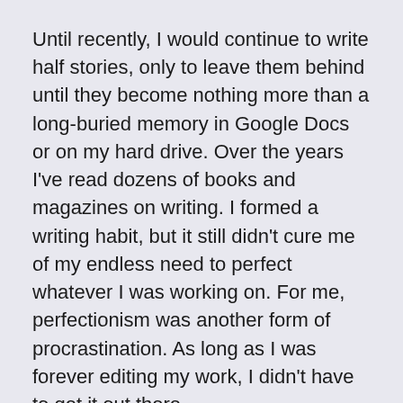Until recently, I would continue to write half stories, only to leave them behind until they become nothing more than a long-buried memory in Google Docs or on my hard drive. Over the years I've read dozens of books and magazines on writing. I formed a writing habit, but it still didn't cure me of my endless need to perfect whatever I was working on. For me, perfectionism was another form of procrastination. As long as I was forever editing my work, I didn't have to get it out there.
Then something happened which drastically altered that self-defeating mindset that had poisoned my writing over the years. I rediscovered one of the horror stories I had written as a child.
The story was about an alien that came into my house one day and kidnapped my family, then I discovered the family dog could talk because she helped me to defeat